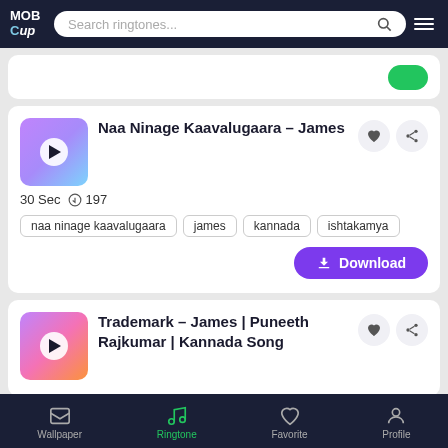MOB Cup — Search ringtones navigation bar
[Figure (screenshot): Green download button partially visible at top of content area]
Naa Ninage Kaavalugaara – James
30 Sec  197
naa ninage kaavalugaara
james
kannada
ishtakamya
Download
Trademark – James | Puneeth Rajkumar | Kannada Song
Wallpaper  Ringtone  Favorite  Profile